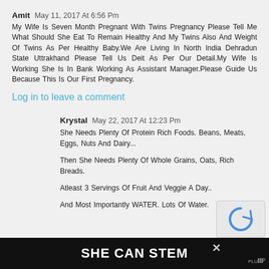Amit May 11, 2017 At 6:56 Pm
My Wife Is Seven Month Pregnant With Twins Pregnancy Please Tell Me What Should She Eat To Remain Healthy And My Twins Also And Weight Of Twins As Per Healthy Baby.We Are Living In North India Dehradun State Uttrakhand Please Tell Us Deit As Per Our Detail.My Wife Is Working She Is In Bank Working As Assistant Manager.Please Guide Us Because This Is Our First Pregnancy.
Log in to leave a comment
Krystal May 22, 2017 At 12:23 Pm
She Needs Plenty Of Protein Rich Foods. Beans, Meats, Eggs, Nuts And Dairy...
Then She Needs Plenty Of Whole Grains, Oats, Rich Breads.
Atleast 3 Servings Of Fruit And Veggie A Day..
And Most Importantly WATER. Lots Of Water.
SHE CAN STEM